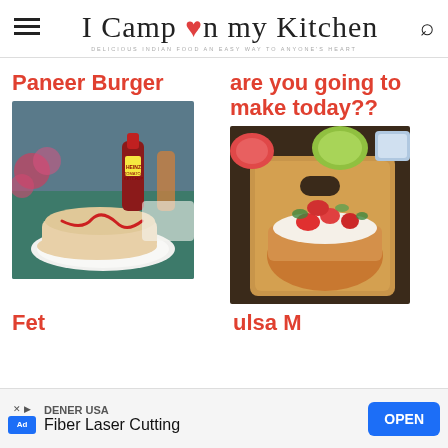I Camp in my Kitchen
DELICIOUS INDIAN FOOD AN EASY WAY TO ANYONE'S HEART
Paneer Burger
are you going to make today??
[Figure (photo): Food photo showing a wrapped paneer burger on a white plate with ketchup drizzle, Heinz ketchup bottle and flowers in background]
[Figure (photo): Food photo showing a bruschetta-style toast on wooden cutting board topped with strawberries, cream and salsa, with lime and bowl in background]
Fet
ulsa M
DENER USA
Fiber Laser Cutting
OPEN